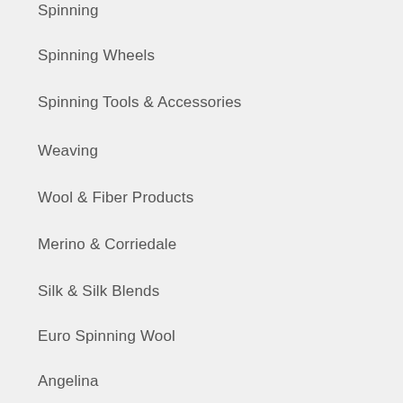Spinning
Spinning Wheels
Spinning Tools & Accessories
Weaving
Wool & Fiber Products
Merino & Corriedale
Silk & Silk Blends
Euro Spinning Wool
Angelina